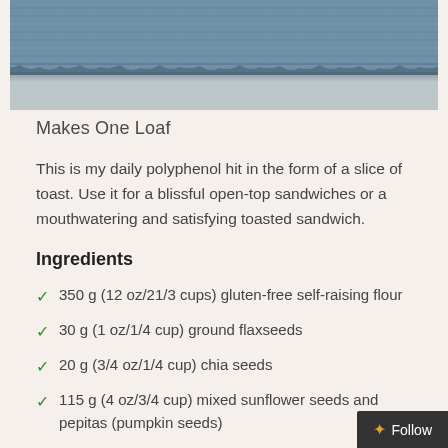[Figure (photo): Close-up photo of denim fabric edge/fringe against a grey concrete or stone surface, cropped at top of page]
Makes One Loaf
This is my daily polyphenol hit in the form of a slice of toast. Use it for a blissful open-top sandwiches or a mouthwatering and satisfying toasted sandwich.
Ingredients
350 g (12 oz/21/3 cups) gluten-free self-raising flour
30 g (1 oz/1/4 cup) ground flaxseeds
20 g (3/4 oz/1/4 cup) chia seeds
115 g (4 oz/3/4 cup) mixed sunflower seeds and pepitas (pumpkin seeds)